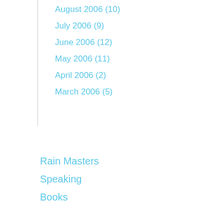August 2006 (10)
July 2006 (9)
June 2006 (12)
May 2006 (11)
April 2006 (2)
March 2006 (5)
Rain Masters
Speaking
Books